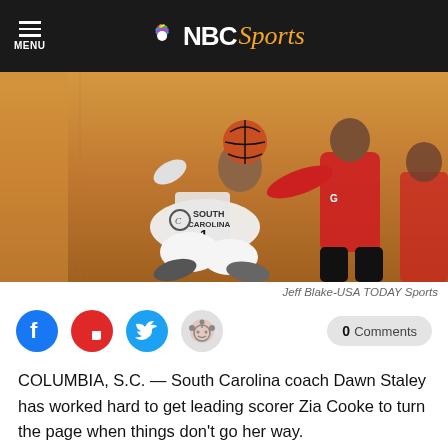NBC Sports
[Figure (photo): Basketball action photo: South Carolina player in white uniform on the floor holding the ball, defended by a Georgia player in red uniform. Court floor visible in background.]
Jeff Blake-USA TODAY Sports
COLUMBIA, S.C. — South Carolina coach Dawn Staley has worked hard to get leading scorer Zia Cooke to turn the page when things don't go her way.
It was evident with Cooke's play against Alabama the message has gotten through.